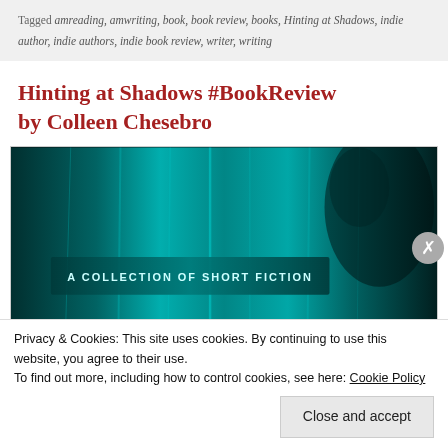Tagged amreading, amwriting, book, book review, books, Hinting at Shadows, indie author, indie authors, indie book review, writer, writing
Hinting at Shadows #BookReview by Colleen Chesebro
[Figure (photo): Book cover for 'Hinting at Shadows – A Collection of Short Fiction', teal/dark tones with vertical light streaks and shadowy figure]
Privacy & Cookies: This site uses cookies. By continuing to use this website, you agree to their use.
To find out more, including how to control cookies, see here: Cookie Policy
Close and accept